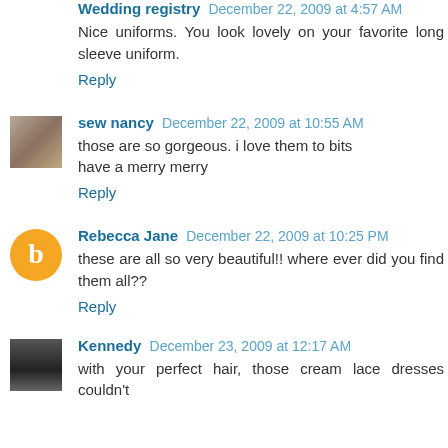Wedding registry December 22, 2009 at 4:57 AM
Nice uniforms. You look lovely on your favorite long sleeve uniform.
Reply
sew nancy December 22, 2009 at 10:55 AM
those are so gorgeous. i love them to bits
have a merry merry
Reply
Rebecca Jane December 22, 2009 at 10:25 PM
these are all so very beautiful!! where ever did you find them all??
Reply
Kennedy December 23, 2009 at 12:17 AM
with your perfect hair, those cream lace dresses couldn't